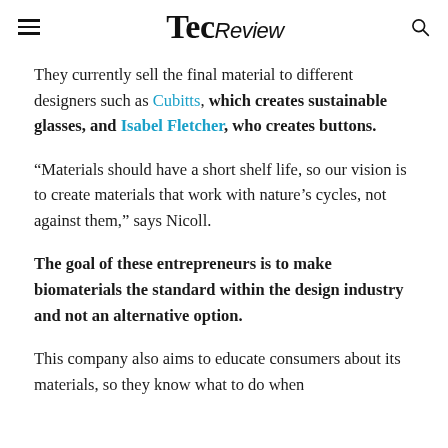TecReview
They currently sell the final material to different designers such as Cubitts, which creates sustainable glasses, and Isabel Fletcher, who creates buttons.
“Materials should have a short shelf life, so our vision is to create materials that work with nature’s cycles, not against them,” says Nicoll.
The goal of these entrepreneurs is to make biomaterials the standard within the design industry and not an alternative option.
This company also aims to educate consumers about its materials, so they know what to do when